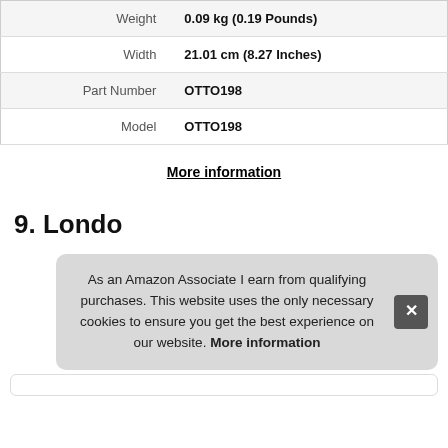| Attribute | Value |
| --- | --- |
| Weight | 0.09 kg (0.19 Pounds) |
| Width | 21.01 cm (8.27 Inches) |
| Part Number | OTTO198 |
| Model | OTTO198 |
More information
9. Londo
As an Amazon Associate I earn from qualifying purchases. This website uses the only necessary cookies to ensure you get the best experience on our website. More information